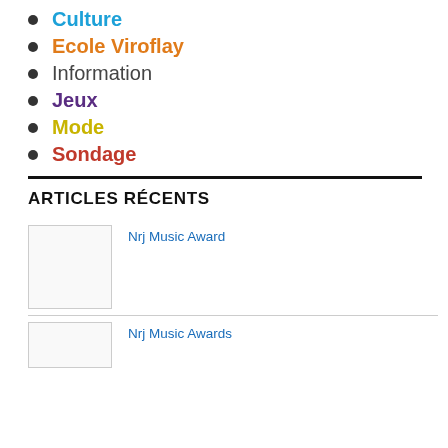Culture
Ecole Viroflay
Information
Jeux
Mode
Sondage
ARTICLES RÉCENTS
Nrj Music Award
Nrj Music Awards